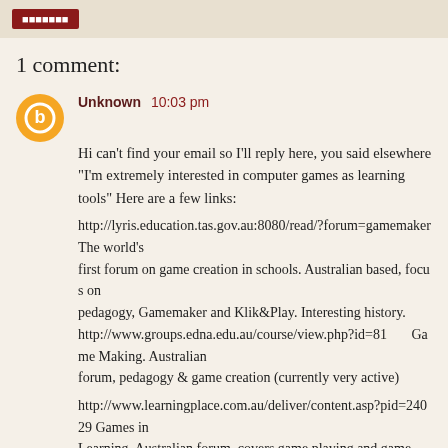1 comment:
Unknown  10:03 pm
Hi can't find your email so I'll reply here, you said elsewhere "I'm extremely interested in computer games as learning tools" Here are a few links:

http://lyris.education.tas.gov.au:8080/read/?forum=gamemaker The world's first forum on game creation in schools. Australian based, focus on pedagogy, Gamemaker and Klik&Play. Interesting history.
http://www.groups.edna.edu.au/course/view.php?id=81      Game Making. Australian forum, pedagogy & game creation (currently very active)

http://www.learningplace.com.au/deliver/content.asp?pid=24029 Games in Learning. Australian forum, covers game playing and game creation (among other...